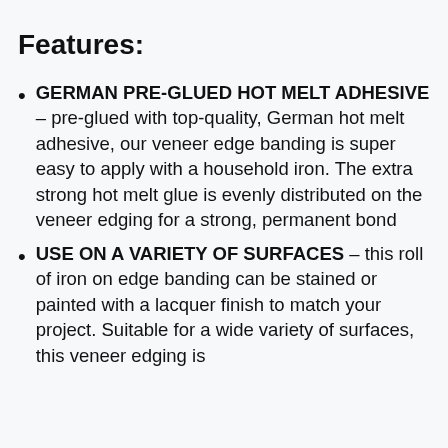Features:
GERMAN PRE-GLUED HOT MELT ADHESIVE – pre-glued with top-quality, German hot melt adhesive, our veneer edge banding is super easy to apply with a household iron. The extra strong hot melt glue is evenly distributed on the veneer edging for a strong, permanent bond
USE ON A VARIETY OF SURFACES – this roll of iron on edge banding can be stained or painted with a lacquer finish to match your project. Suitable for a wide variety of surfaces, this veneer edging is